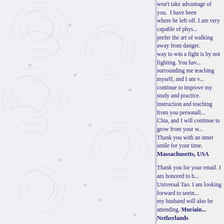won't take advantage of you. I have been where he left off. I am very capable of phys... prefer the art of walking away from danger. way to win a fight is by not fighting. You ha... surrounding me teaching myself, and I am ... continue to improve my study and practice. instruction and teaching from you personal... Chia, and I will continue to grow from your ... Thank you with an inner smile for your time. Massachusetts, USA
Thank you for your email. I am honored to ... Universal Tao. I am looking forward to seei... my husband will also be attending. Muriain... Netherlands
Thank very much for the wonderful week i... many gems of Universal Tao knowledge wi... interesting article about magnetic stimulati... cases producing ecstatic experiences. Tha... Bucharest, Romania
I had the pleasure of attending one of your year. One of the interesting observations w... selection of teas available during the retrea... hold of one of teas, which according to Ma...